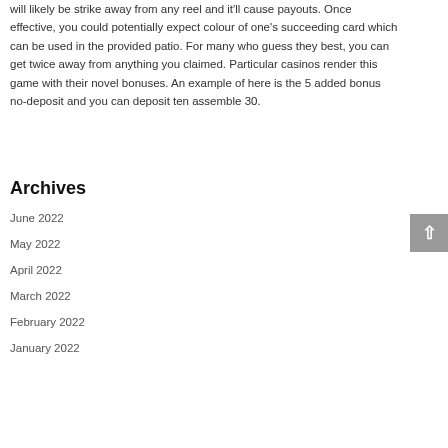will likely be strike away from any reel and it'll cause payouts. Once effective, you could potentially expect colour of one's succeeding card which can be used in the provided patio. For many who guess they best, you can get twice away from anything you claimed. Particular casinos render this game with their novel bonuses. An example of here is the 5 added bonus no-deposit and you can deposit ten assemble 30.
Archives
June 2022
May 2022
April 2022
March 2022
February 2022
January 2022